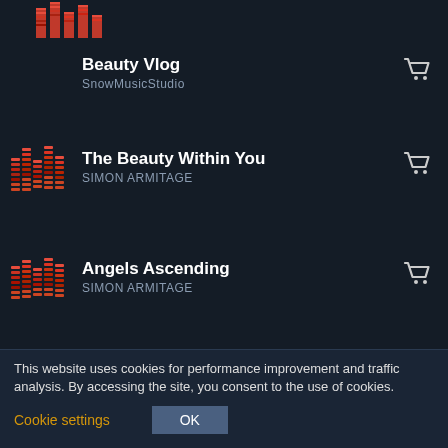[Figure (screenshot): Partial music equalizer thumbnail at top, cropped]
Beauty Vlog — SnowMusicStudio
The Beauty Within You — SIMON ARMITAGE
Angels Ascending — SIMON ARMITAGE
Emotional Inspiring — Wedding Theme (partial)
This website uses cookies for performance improvement and traffic analysis. By accessing the site, you consent to the use of cookies.
Cookie settings
OK